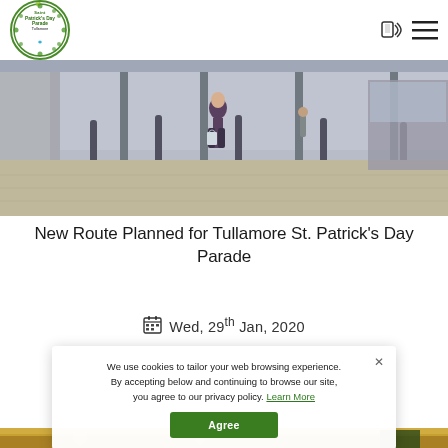Saint Patrick's Day Parade Tullamore — navigation header with logo, phone icon, and hamburger menu
[Figure (photo): Street scene showing a pedestrian walkway in Tullamore, with bollards, a person walking, and storefronts in the background. Taken in daylight.]
New Route Planned for Tullamore St. Patrick's Day Parade
Wed, 29th Jan, 2020
We use cookies to tailor your web browsing experience. By accepting below and continuing to browse our site, you agree to our privacy policy. Learn More
[Figure (photo): Bottom portion of a second photo showing a crowd/event interior scene, partially visible.]